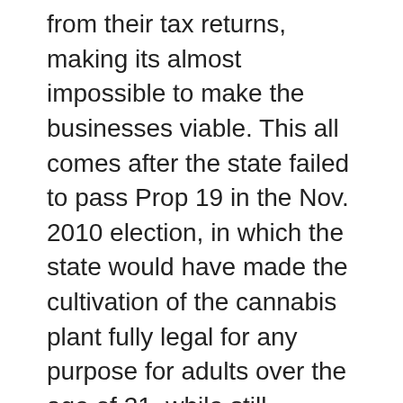from their tax returns, making its almost impossible to make the businesses viable. This all comes after the state failed to pass Prop 19 in the Nov. 2010 election, in which the state would have made the cultivation of the cannabis plant fully legal for any purpose for adults over the age of 21, while still keeping all of their medical laws intact. Now, even operating fully within the law, medical business, growers, and patients can face federal raids with court cases turning more and more people into criminals and felons. As the crackdown closes many stores, the black market has started to fill the space for medical patients in need with inflated prices once again. (http://www.huffingtonpost.com/2011/12/07/federal